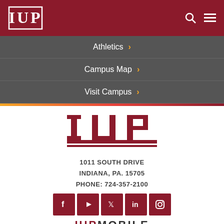[Figure (logo): IUP logo in white on dark red header background with search and menu icons]
Athletics ›
Campus Map ›
Visit Campus ›
[Figure (logo): Large IUP logo in maroon with double underline bar]
1011 SOUTH DRIVE
INDIANA, PA. 15705
PHONE: 724-357-2100
[Figure (infographic): Social media icons row: Facebook, YouTube, Twitter, LinkedIn, Instagram — all maroon square buttons]
IUPMOBILE
Connect
MyIUP Portal
Email
D2L
Moodle